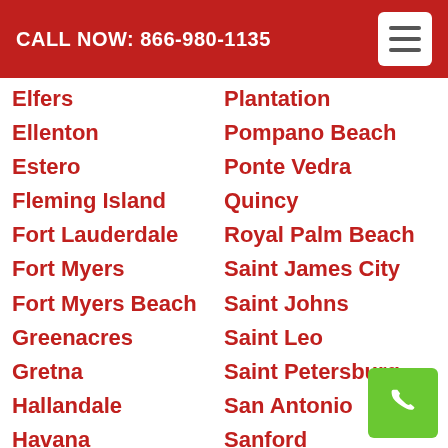CALL NOW: 866-980-1135
Elfers
Plantation
Ellenton
Pompano Beach
Estero
Ponte Vedra
Fleming Island
Quincy
Fort Lauderdale
Royal Palm Beach
Fort Myers
Saint James City
Fort Myers Beach
Saint Johns
Greenacres
Saint Leo
Gretna
Saint Petersburg
Hallandale
San Antonio
Havana
Sanford
Hialeah
Sanibel
Hollywood
Sarasota
Holmes Beach
Seffner
Homestead
Spring Hill
Hudson
Sun City
Jacksonville
Sunrise